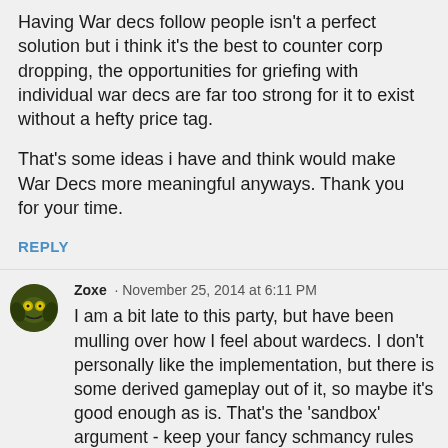Having War decs follow people isn't a perfect solution but i think it's the best to counter corp dropping, the opportunities for griefing with individual war decs are far too strong for it to exist without a hefty price tag.
That's some ideas i have and think would make War Decs more meaningful anyways. Thank you for your time.
REPLY
Zoxe · November 25, 2014 at 6:11 PM
I am a bit late to this party, but have been mulling over how I feel about wardecs. I don't personally like the implementation, but there is some derived gameplay out of it, so maybe it's good enough as is. That's the 'sandbox' argument - keep your fancy schmancy rules and structure out of my sandbox.